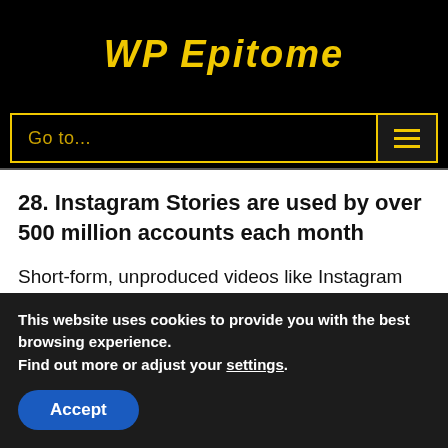WP Epitome
[Figure (screenshot): Navigation bar with 'Go to...' text and hamburger menu icon, bordered in yellow on black background]
28. Instagram Stories are used by over 500 million accounts each month
Short-form, unproduced videos like Instagram stories are becoming increasingly popular amongst regular users and businesses.
Instagram stories are easy to create visual content
This website uses cookies to provide you with the best browsing experience.
Find out more or adjust your settings.